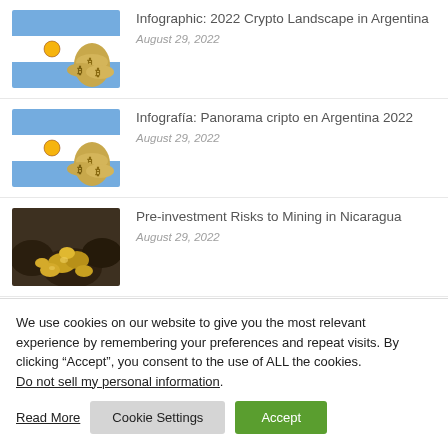[Figure (photo): Argentina flag with bitcoin coins thumbnail]
Infographic: 2022 Crypto Landscape in Argentina
August 29, 2022
[Figure (photo): Argentina flag with bitcoin coins thumbnail]
Infografía: Panorama cripto en Argentina 2022
August 29, 2022
[Figure (photo): Gold nuggets/mining thumbnail]
Pre-investment Risks to Mining in Nicaragua
August 29, 2022
We use cookies on our website to give you the most relevant experience by remembering your preferences and repeat visits. By clicking “Accept”, you consent to the use of ALL the cookies.
Do not sell my personal information.